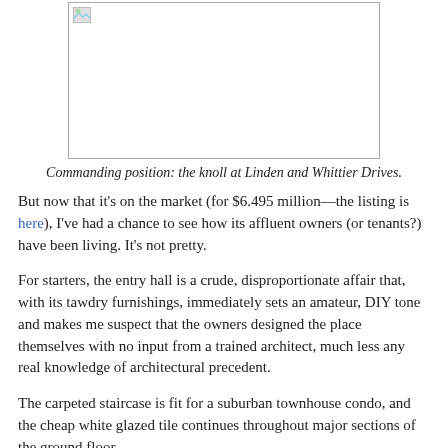[Figure (photo): Placeholder image (broken/unloaded) showing the knoll at Linden and Whittier Drives]
Commanding position: the knoll at Linden and Whittier Drives.
But now that it's on the market (for $6.495 million—the listing is here), I've had a chance to see how its affluent owners (or tenants?) have been living. It's not pretty.
For starters, the entry hall is a crude, disproportionate affair that, with its tawdry furnishings, immediately sets an amateur, DIY tone and makes me suspect that the owners designed the place themselves with no input from a trained architect, much less any real knowledge of architectural precedent.
The carpeted staircase is fit for a suburban townhouse condo, and the cheap white glazed tile continues throughout major sections of the ground floor.